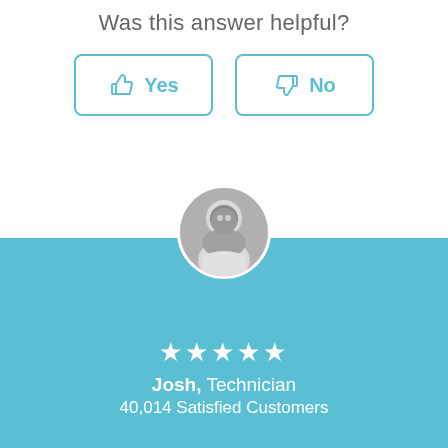Was this answer helpful?
[Figure (infographic): Two buttons side by side: a thumbs-up Yes button and a thumbs-down No button, both outlined in teal color]
[Figure (photo): Circular avatar photo of Josh, a technician, shown in black and white, smiling]
★★★★★
Josh, Technician
40,014 Satisfied Customers
Pearl Wilson, Assistant
[Figure (illustration): Circular avatar of Pearl Wilson assistant with a typing bubble showing three dots]